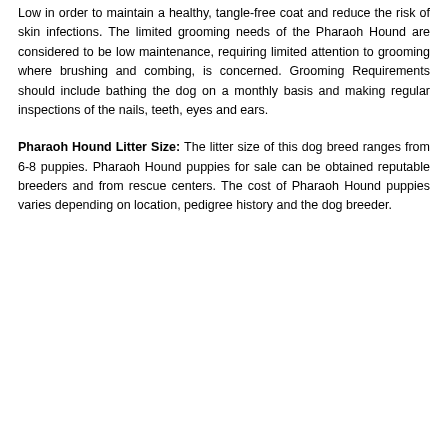Low in order to maintain a healthy, tangle-free coat and reduce the risk of skin infections. The limited grooming needs of the Pharaoh Hound are considered to be low maintenance, requiring limited attention to grooming where brushing and combing, is concerned. Grooming Requirements should include bathing the dog on a monthly basis and making regular inspections of the nails, teeth, eyes and ears.
Pharaoh Hound Litter Size: The litter size of this dog breed ranges from 6-8 puppies. Pharaoh Hound puppies for sale can be obtained reputable breeders and from rescue centers. The cost of Pharaoh Hound puppies varies depending on location, pedigree history and the dog breeder.